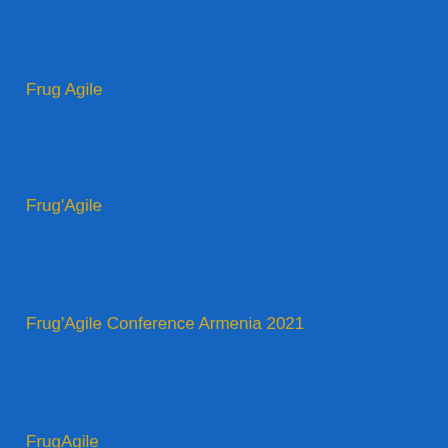Frug Agile
Frug'Agile
Frug'Agile Conference Armenia 2021
FrugAgile
Future
GAFAM
Gala
Gaming Desktop Computer
Gartner